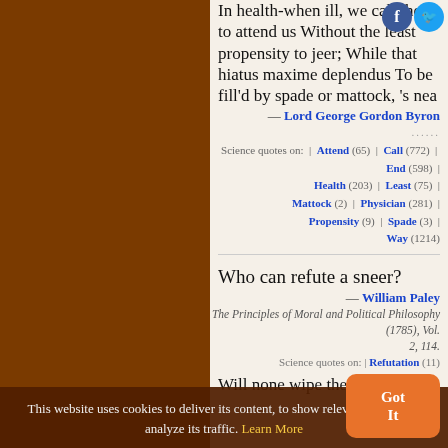In health-when ill, we call them to attend us Without the least propensity to jeer; While that hiatus maxime deplendus To be fill'd by spade or mattock, 's nea
— Lord George Gordon Byron
Science quotes on: | Attend (65) | Call (772) | End (598) | Health (203) | Least (75) | Mattock (2) | Physician (281) | Propensity (9) | Spade (3) | Way (1214)
Who can refute a sneer?
— William Paley
The Principles of Moral and Political Philosophy (1785), Vol. 2, 114.
Science quotes on: | Refutation (11)
Will none wipe the sneer
This website uses cookies to deliver its content, to show relevant ads and to analyze its traffic. Learn More
Got It